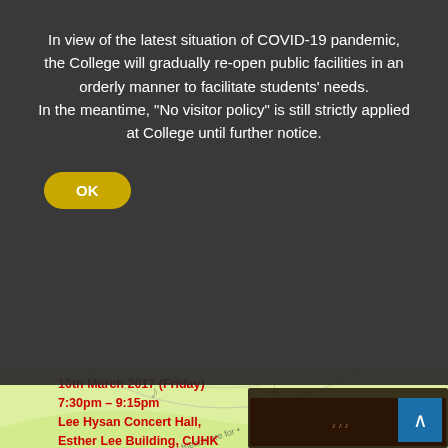In view of the latest situation of COVID-19 pandemic, the College will gradually re-open public facilities in an orderly manner to facilitate students' needs.
In the meantime, "No visitor policy" is still strictly applied at College until further notice.
[Figure (illustration): OK button (yellow/gold rounded pill button)]
[Figure (illustration): Concert poster with circular musical design featuring doves, musical notes, sunflower and flowers. Text around circle: 'Singin' in the Rain', 'Moonlight: Stand by Me', 'That's what friends are for', Chinese characters. Designed by Emily Leung Chun Yi.]
10th March 2017 (Friday)
7:30pm – 9:15pm
Lee Hysan Concert Hall,
Esther Lee Building, CUHK